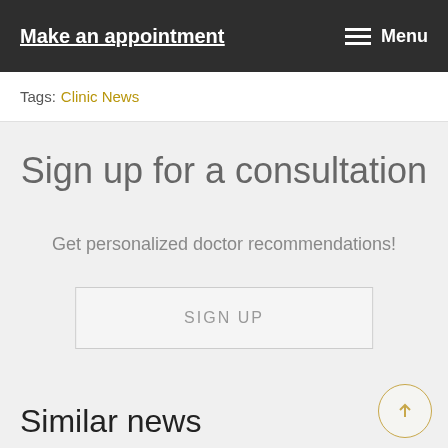Make an appointment  Menu
Tags: Clinic News
Sign up for a consultation
Get personalized doctor recommendations!
SIGN UP
Similar news